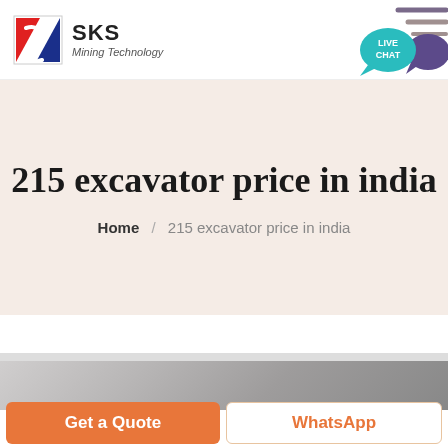[Figure (logo): SKS Mining Technology logo with red/blue geometric S icon and company name]
[Figure (illustration): Live Chat button with teal speech bubble and purple chat icon with decorative lines]
215 excavator price in india
Home / 215 excavator price in india
[Figure (photo): Partial view of machinery/equipment, gray tones]
Get a Quote
WhatsApp